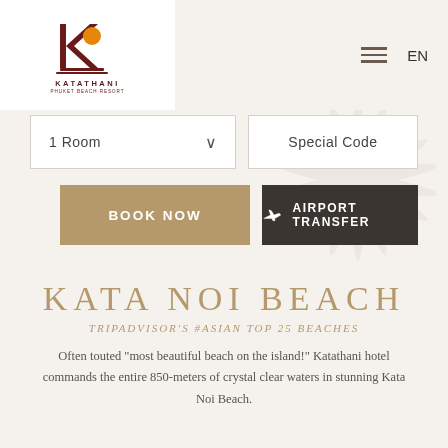[Figure (logo): Katathani Phuket Beach Resort logo — stylized K with sun icon in dark red and orange, text KATATHANI below]
1 Room ∨
Special Code
BOOK NOW
✈ AIRPORT TRANSFER
KATA NOI BEACH
TRIPADVISOR'S #ASIAN TOP 25 BEACHES
Often touted "most beautiful beach on the island!" Katathani hotel commands the entire 850-meters of crystal clear waters in stunning Kata Noi Beach.